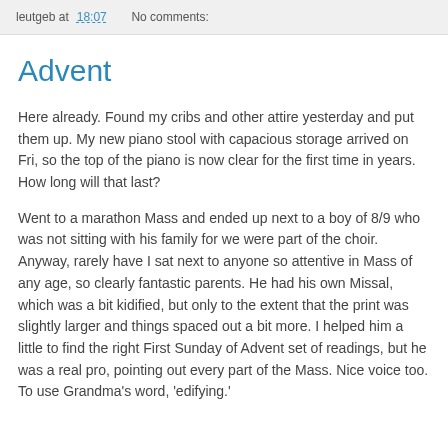leutgeb at 18:07    No comments:
Advent
Here already. Found my cribs and other attire yesterday and put them up. My new piano stool with capacious storage arrived on Fri, so the top of the piano is now clear for the first time in years. How long will that last?
Went to a marathon Mass and ended up next to a boy of 8/9 who was not sitting with his family for we were part of the choir. Anyway, rarely have I sat next to anyone so attentive in Mass of any age, so clearly fantastic parents. He had his own Missal, which was a bit kidified, but only to the extent that the print was slightly larger and things spaced out a bit more. I helped him a little to find the right First Sunday of Advent set of readings, but he was a real pro, pointing out every part of the Mass. Nice voice too. To use Grandma's word, 'edifying.'